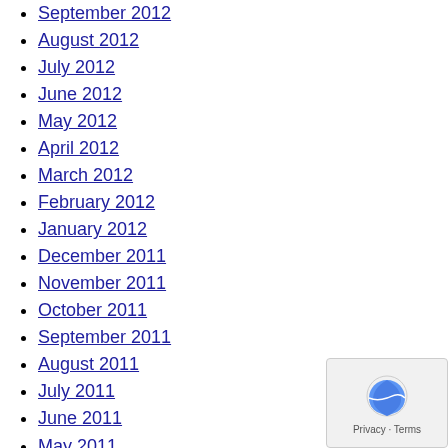September 2012
August 2012
July 2012
June 2012
May 2012
April 2012
March 2012
February 2012
January 2012
December 2011
November 2011
October 2011
September 2011
August 2011
July 2011
June 2011
May 2011
April 2011
March 2011
February 2011
January 2011
December 2010
November 2010
October 2010
September 2010